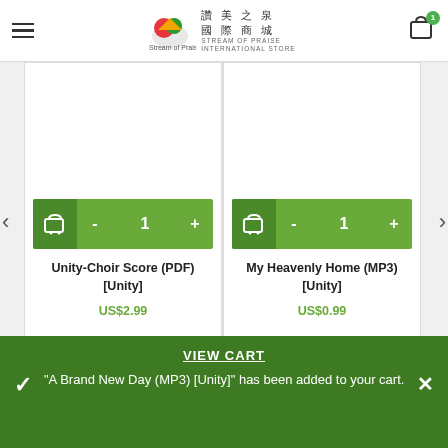讚美之泉 國際商城 STREAM OF PRAISE INTERNATIONAL STORE
[Figure (screenshot): Product card: Unity-Choir Score (PDF) [Unity] with add-to-cart button showing quantity 1, price US$2.99]
[Figure (screenshot): Product card: My Heavenly Home (MP3) [Unity] with add-to-cart button showing quantity 1, price US$0.99]
相關商品
VIEW CART
"A Brand New Day (MP3) [Unity]" has been added to your cart.